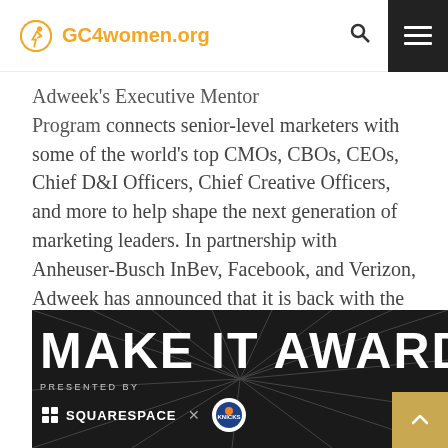GC4women.org — navigation with search and menu
Adweek's Executive Mentor Program connects senior-level marketers with some of the world's top CMOs, CBOs, CEOs, Chief D&I Officers, Chief Creative Officers, and more to help shape the next generation of marketing leaders. In partnership with Anheuser-Busch InBev, Facebook, and Verizon, Adweek has announced that it is back with the Adweek Executive Mentor Program with double the number of mentors….
[Figure (photo): Black and white photo with bold white text reading 'MAKE IT AWARDS', below which reads 'PRESENTED BY' with SQUARESPACE and Knicks logos]